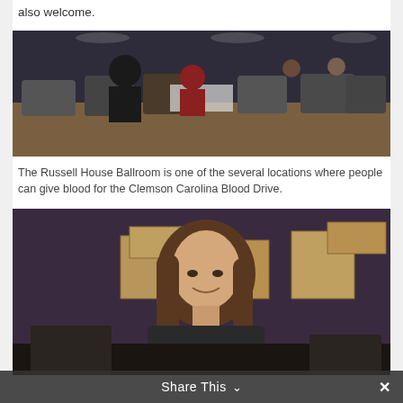also welcome.
[Figure (photo): Blood drive room – The Russell House Ballroom with people reclining in donation chairs and medical staff attending to donors.]
The Russell House Ballroom is one of the several locations where people can give blood for the Clemson Carolina Blood Drive.
[Figure (photo): A smiling young woman with brown hair in a dark shirt, photographed at the blood drive event with cardboard boxes in the background.]
Share This ∨  ×